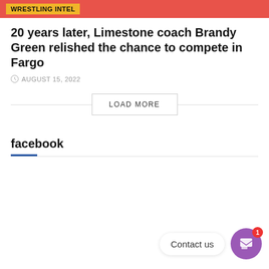WRESTLING INTEL
20 years later, Limestone coach Brandy Green relished the chance to compete in Fargo
AUGUST 15, 2022
LOAD MORE
facebook
Contact us